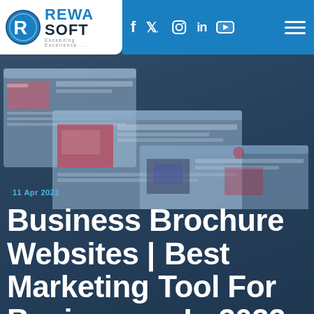[Figure (logo): Rewasoft logo with blue R circle icon, REWA SOFT text, and tagline Exceeding Excellence...]
[Figure (infographic): Navigation bar with social media icons: Facebook, Twitter, Instagram, LinkedIn, YouTube on blue background, with hamburger menu on right]
[Figure (screenshot): Background hero image showing multiple browser windows with website screenshots, blurred, dark blue overlay]
11 Apr 2022
Business Brochure Websites | Best Marketing Tool For Businesses In 2022